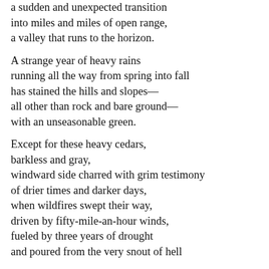a sudden and unexpected transition
into miles and miles of open range,
a valley that runs to the horizon.

A strange year of heavy rains
running all the way from spring into fall
has stained the hills and slopes—
all other than rock and bare ground—
with an unseasonable green.

Except for these heavy cedars,
barkless and gray,
windward side charred with grim testimony
of drier times and darker days,
when wildfires swept their way,
driven by fifty-mile-an-hour winds,
fueled by three years of drought
and poured from the very snout of hell